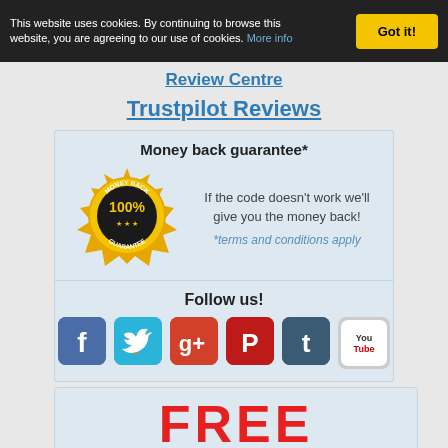This website uses cookies. By continuing to browse this website, you are agreeing to our use of cookies. More info
Got it!
Review Centre
Trustpilot Reviews
Money back guarantee*
[Figure (illustration): Gold 100% Money Back Guarantee badge/seal]
If the code doesn't work we'll give you the money back!
*terms and conditions apply
Follow us!
[Figure (infographic): Social media icons: Facebook, Twitter, Google+, Pinterest, Tumblr, YouTube]
FREE